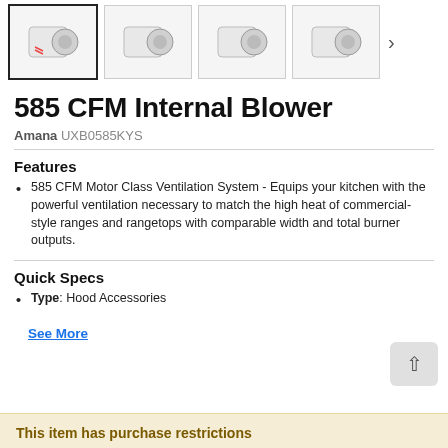[Figure (photo): Four thumbnail images of a blower product shown in a horizontal strip with navigation arrow]
585 CFM Internal Blower
Amana UXB0585KYS
Features
585 CFM Motor Class Ventilation System - Equips your kitchen with the powerful ventilation necessary to match the high heat of commercial-style ranges and rangetops with comparable width and total burner outputs.
Quick Specs
Type: Hood Accessories
See More
This item has purchase restrictions